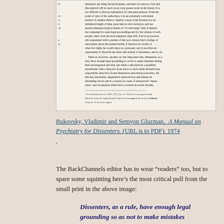[Figure (photo): Photograph of a page from a book showing dense printed text in serif font, with a footnote at the bottom. The text discusses dissenters being declared insane and psychiatric methods used by authorities. Footnote reads: * For Russian text see CHR, 1973, No. 25. This text was typed out in Moscow from the original hand-written text smuggled out of forced labour camp no. 35 in Perm region.]
Bukovsky, Vladimir and Semyon Gluzman. A Manual on Psychiatry for Dissenters. (URL is to PDF). 1974.
The BackChannels editor has to wear “readers” too, but to spare some squinting here’s the most critical pull from the small print in the above image:
Dissenters, as a rule, have enough legal grounding so as not to make mistakes